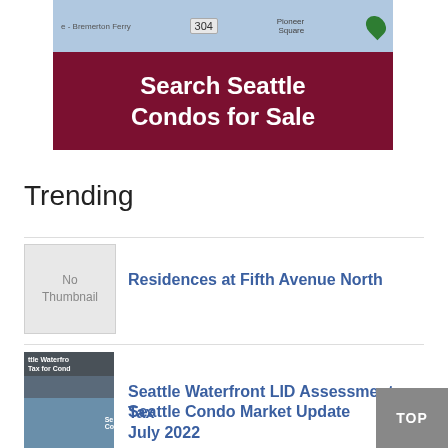[Figure (map): Map snippet showing Bremerton Ferry area and Pioneer Square with route 304 label]
[Figure (infographic): Dark red/maroon banner reading 'Search Seattle Condos for Sale' in white bold text]
Trending
[Figure (photo): No Thumbnail placeholder image (grey box)]
Residences at Fifth Avenue North
[Figure (photo): Thumbnail image showing Seattle Waterfront LID text overlay on street photo]
Seattle Waterfront LID Assessment Tax
[Figure (photo): Partial thumbnail at bottom of page, partially cut off]
Seattle Condo Market Update July 2022 (partially visible)